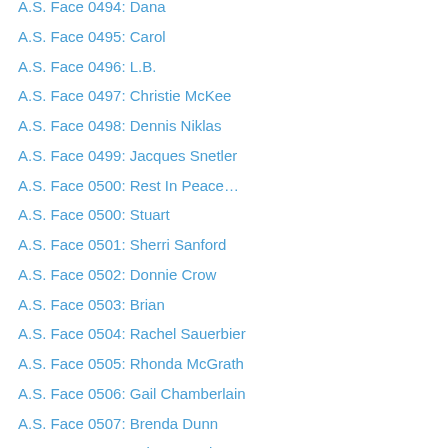A.S. Face 0494: Dana
A.S. Face 0495: Carol
A.S. Face 0496: L.B.
A.S. Face 0497: Christie McKee
A.S. Face 0498: Dennis Niklas
A.S. Face 0499: Jacques Snetler
A.S. Face 0500: Rest In Peace…
A.S. Face 0500: Stuart
A.S. Face 0501: Sherri Sanford
A.S. Face 0502: Donnie Crow
A.S. Face 0503: Brian
A.S. Face 0504: Rachel Sauerbier
A.S. Face 0505: Rhonda McGrath
A.S. Face 0506: Gail Chamberlain
A.S. Face 0507: Brenda Dunn
A.S. Face 0508: Asim Hussain
A.S. Face 0509: Katerina-Maria
A.S. Face 0510: Nadean Amen
A.S. Face 0511: Liza M.B.
A.S. Face 0512: Amanda Unrein